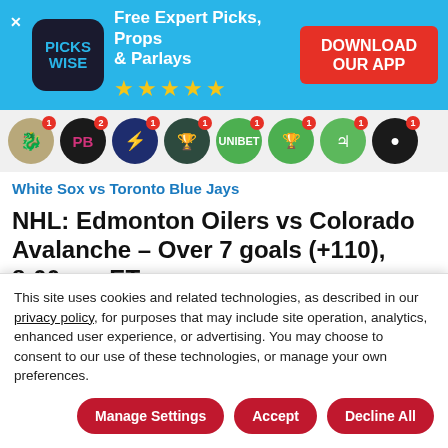[Figure (screenshot): Pickswise app advertisement banner with logo, tagline 'Free Expert Picks, Props & Parlays', five gold stars, and red 'DOWNLOAD OUR APP' button on cyan background]
[Figure (screenshot): Row of circular sports betting app icons with notification badges]
White Sox vs Toronto Blue Jays
NHL: Edmonton Oilers vs Colorado Avalanche – Over 7 goals (+110), 8:00 pm ET
If you have been following the Stanley Cup Playoffs you know that when the Oilers are on a roll following their run and...
This site uses cookies and related technologies, as described in our privacy policy, for purposes that may include site operation, analytics, enhanced user experience, or advertising. You may choose to consent to our use of these technologies, or manage your own preferences.